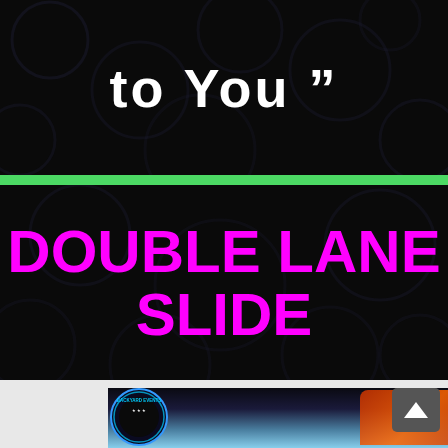to You”
DOUBLE LANE SLIDE
[Figure (photo): Partial photo of a large inflatable double lane slide outdoors with a circular logo for Backyard Events visible on the left side and a scroll-up button on the right.]